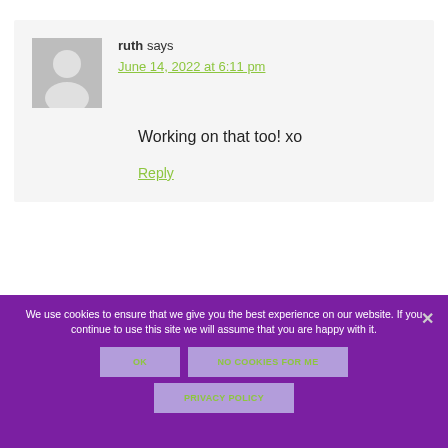ruth says
June 14, 2022 at 6:11 pm
Working on that too! xo
Reply
We use cookies to ensure that we give you the best experience on our website. If you continue to use this site we will assume that you are happy with it.
OK
NO COOKIES FOR ME
PRIVACY POLICY